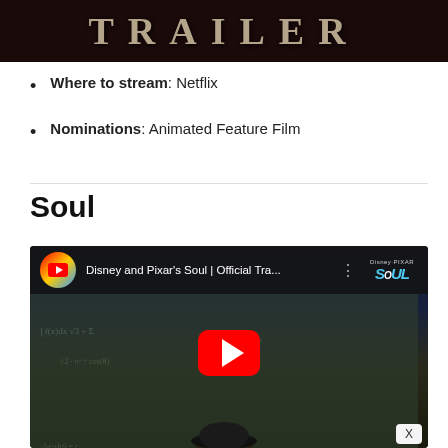[Figure (screenshot): Dark movie trailer banner with text TRAILER in large serif letters]
Where to stream: Netflix
Nominations: Animated Feature Film
Soul
[Figure (screenshot): YouTube video thumbnail for Disney and Pixar's Soul | Official Tra... showing animated character with glasses in front of chalkboard with red YouTube play button]